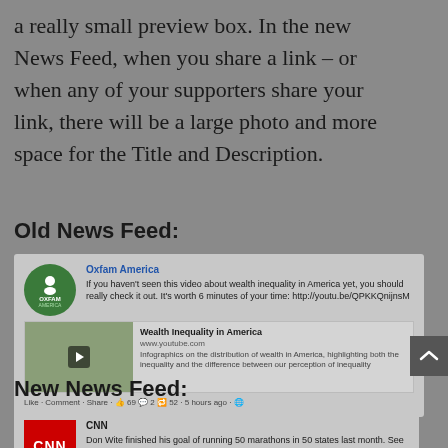a really small preview box. In the new News Feed, when you share a link – or when any of your supporters share your link, there will be a large photo and more space for the Title and Description.
Old News Feed:
[Figure (screenshot): Facebook post from Oxfam America in old News Feed layout showing a video about wealth inequality with small preview thumbnail]
New News Feed:
[Figure (screenshot): Facebook post from CNN in new News Feed layout showing a story about Don Wite running 50 marathons in 50 states]